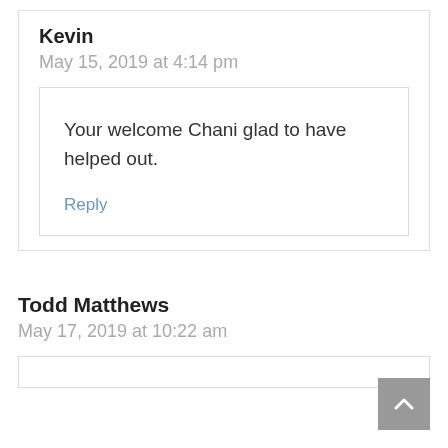Kevin
May 15, 2019 at 4:14 pm
Your welcome Chani glad to have helped out.
Reply
Todd Matthews
May 17, 2019 at 10:22 am